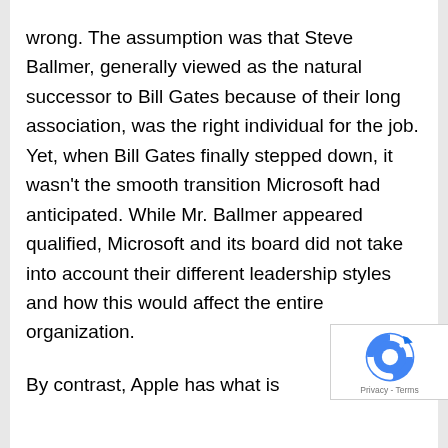wrong. The assumption was that Steve Ballmer, generally viewed as the natural successor to Bill Gates because of their long association, was the right individual for the job. Yet, when Bill Gates finally stepped down, it wasn't the smooth transition Microsoft had anticipated. While Mr. Ballmer appeared qualified, Microsoft and its board did not take into account their different leadership styles and how this would affect the entire organization.

By contrast, Apple has what is